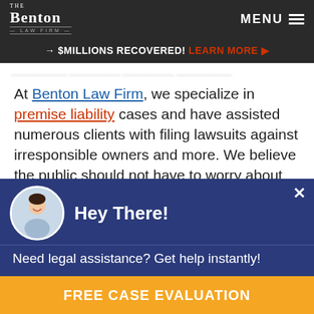The Benton Law Firm | MENU
→ $MILLIONS RECOVERED! LEARN MORE ▶
At Benton Law Firm, we specialize in premise liability cases and have assisted numerous clients with filing lawsuits against irresponsible owners and more. We believe the public should not have to worry about being put at risk when enjoying public facilities, which is why we fight for their rights when they do sustain injuries. Contact our office today for a
Hey There!
Need legal assistance? Get help instantly!
FREE CASE EVALUATION